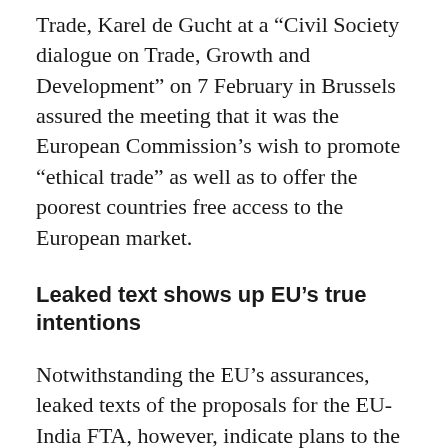Trade, Karel de Gucht at a “Civil Society dialogue on Trade, Growth and Development” on 7 February in Brussels assured the meeting that it was the European Commission’s wish to promote “ethical trade” as well as to offer the poorest countries free access to the European market.
Leaked text shows up EU’s true intentions
Notwithstanding the EU’s assurances, leaked texts of the proposals for the EU-India FTA, however, indicate plans to the contrary, especially over IP and IP-related investments.
ile some provisions in the leaked texts that have emerged profess respect for the 2001 Doha Declaration that affirmed the